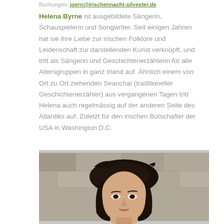Buchungen: joern@irischennacht-silvester.de
Helena Byrne ist ausgebildete Sängerin, Schauspielerin und Songwriter. Seit einigen Jahren hat sie ihre Liebe zur irischen Folklore und Leidenschaft zur darstellenden Kunst verknüpft, und tritt als Sängerin und Geschichtenerzählerin für alle Altersgruppen in ganz Irland auf. Ähnlich einem von Ort zu Ort ziehenden Seanchaí (traditioneller Geschichtenerzähler) aus vergangenen Tagen tritt Helena auch regelmässig auf der anderen Seite des Atlantiks auf. Zuletzt für den irischen Botschafter der USA in Washington D.C.
[Figure (photo): A portrait photo of Helena Byrne, a woman with dark hair, photographed outdoors against a stone wall background. The photo shows her face and upper body.]